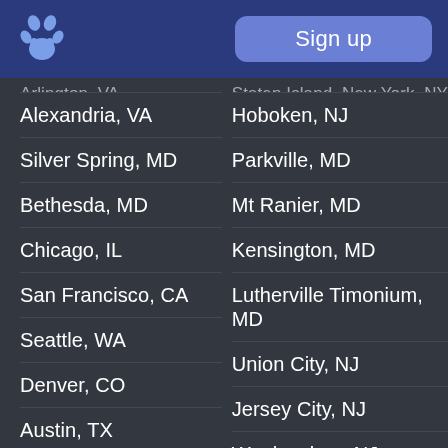Sign up
Arlington, VA
Alexandria, VA
Silver Spring, MD
Bethesda, MD
Chicago, IL
San Francisco, CA
Seattle, WA
Denver, CO
Austin, TX
Atlanta, GA
Boston, MA
Houston, TX
Staten Island, New York, NY
Hoboken, NJ
Parkville, MD
Mt Ranier, MD
Kensington, MD
Lutherville Timonium, MD
Union City, NJ
Jersey City, NJ
Weehawken, NJ
Brentwood, MD
Takoma Park, MD
Rockville, MD